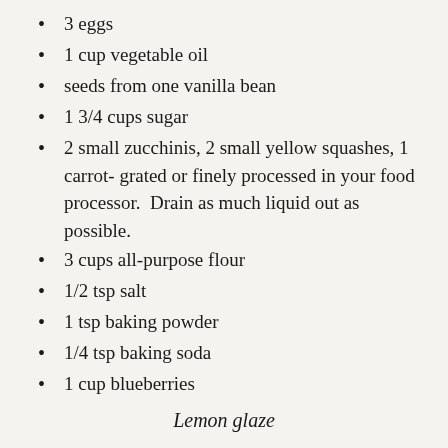3 eggs
1 cup vegetable oil
seeds from one vanilla bean
1 3/4 cups sugar
2 small zucchinis, 2 small yellow squashes, 1 carrot- grated or finely processed in your food processor.  Drain as much liquid out as possible.
3 cups all-purpose flour
1/2 tsp salt
1 tsp baking powder
1/4 tsp baking soda
1 cup blueberries
Lemon glaze
3/4 cup confectioner's sugar
1-2 Tbsp lemon juice